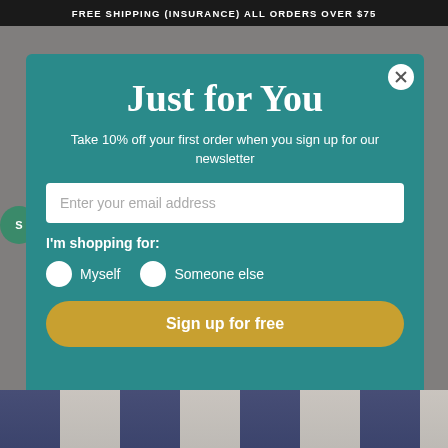FREE SHIPPING (INSURANCE) ALL ORDERS OVER $75
Just for You
Take 10% off your first order when you sign up for our newsletter
Enter your email address
I'm shopping for:
Myself
Someone else
Sign up for free